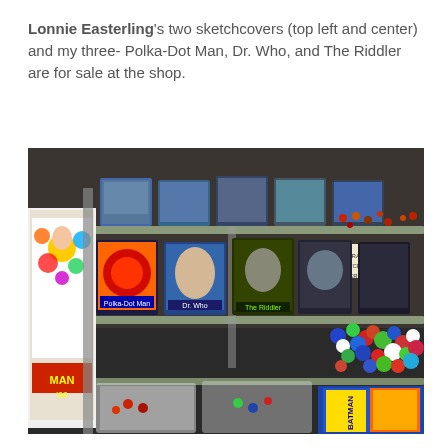Lonnie Easterling's two sketchcovers (top left and center) and my three- Polka-Dot Man, Dr. Who, and The Riddler are for sale at the shop.
[Figure (photo): A glass display case in a comic/hobby shop showing sketchcover cards arranged on shelves, colorful dice and game pieces, plastic bags with collectibles, and comic books. Multiple hand-drawn sketch cards are visible in the middle shelves, with dice and gaming accessories on the lower shelves.]